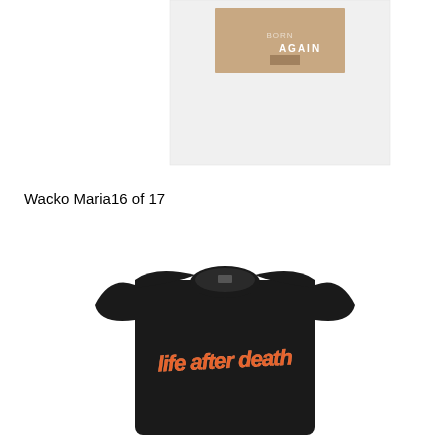[Figure (photo): A white square album/book cover showing partial text 'BORN AGAIN' in a light/faded style on a white background]
Wacko Maria16 of 17
[Figure (photo): A black oversized crew-neck t-shirt with an orange/red cursive graffiti-style graphic reading 'life after death' on the chest]